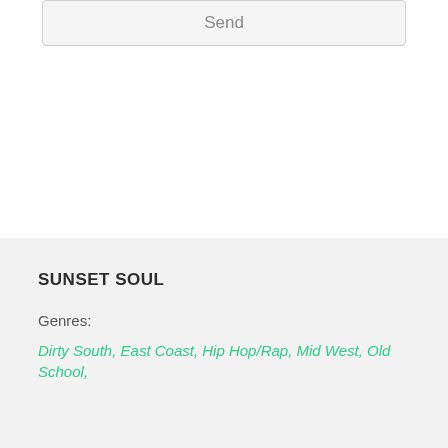Send
SUNSET SOUL
Genres:
Dirty South, East Coast, Hip Hop/Rap, Mid West, Old School,